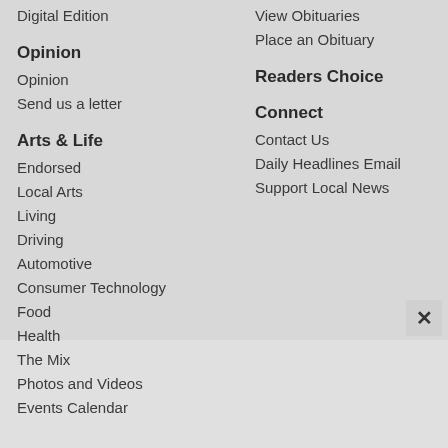Digital Edition
Opinion
Opinion
Send us a letter
Arts & Life
Endorsed
Local Arts
Living
Driving
Automotive
Consumer Technology
Food
Health
The Mix
Photos and Videos
Events Calendar
View Obituaries
Place an Obituary
Readers Choice
Connect
Contact Us
Daily Headlines Email
Support Local News